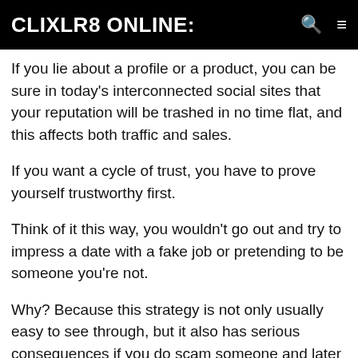CLIXLR8 ONLINE:
If you lie about a profile or a product, you can be sure in today's interconnected social sites that your reputation will be trashed in no time flat, and this affects both traffic and sales.
If you want a cycle of trust, you have to prove yourself trustworthy first.
Think of it this way, you wouldn't go out and try to impress a date with a fake job or pretending to be someone you're not.
Why? Because this strategy is not only usually easy to see through, but it also has serious consequences if you do scam someone and later they find out. After that, nothing you say is trustworthy.
Since trust is the engine for commerce on many social